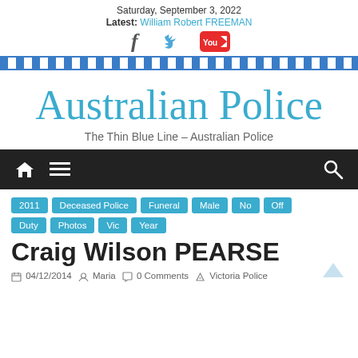Saturday, September 3, 2022
Latest: William Robert FREEMAN
[Figure (logo): Social media icons: Facebook, Twitter, YouTube]
[Figure (illustration): Police checkered band in blue and white]
Australian Police
The Thin Blue Line – Australian Police
[Figure (illustration): Dark navigation bar with home icon, menu icon, and search icon]
2011
Deceased Police
Funeral
Male
No
Off Duty
Photos
Vic
Year
Craig Wilson PEARSE
04/12/2014  Maria  0 Comments  Victoria Police